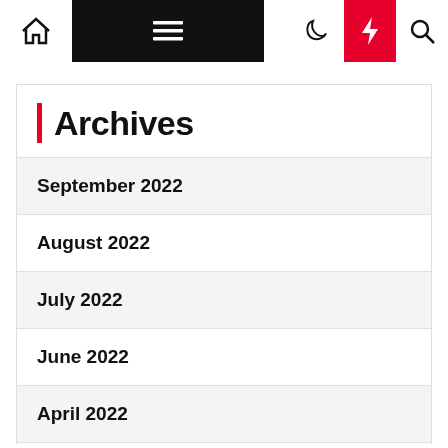Navigation bar with home, menu, dark mode, flash, and search icons
Archives
September 2022
August 2022
July 2022
June 2022
April 2022
January 2022
December 2021